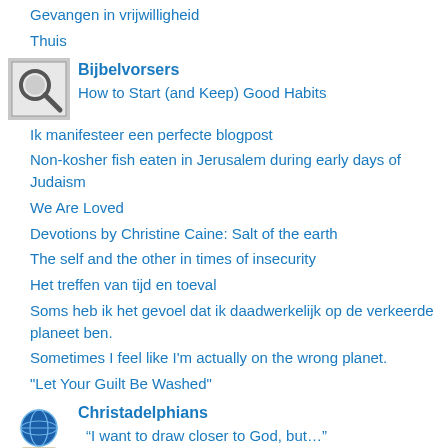Gevangen in vrijwilligheid
Thuis
Bijbelvorsers
How to Start (and Keep) Good Habits
Ik manifesteer een perfecte blogpost
Non-kosher fish eaten in Jerusalem during early days of Judaism
We Are Loved
Devotions by Christine Caine: Salt of the earth
The self and the other in times of insecurity
Het treffen van tijd en toeval
Soms heb ik het gevoel dat ik daadwerkelijk op de verkeerde planeet ben.
Sometimes I feel like I'm actually on the wrong planet.
"Let Your Guilt Be Washed"
Christadelphians
“I want to draw closer to God, but…”
Liz Truss: We may support a tribunal to try Putin over war in Ukraine
It's the Little Things that Matter
Germany backs EU proposals for Russian oil ban